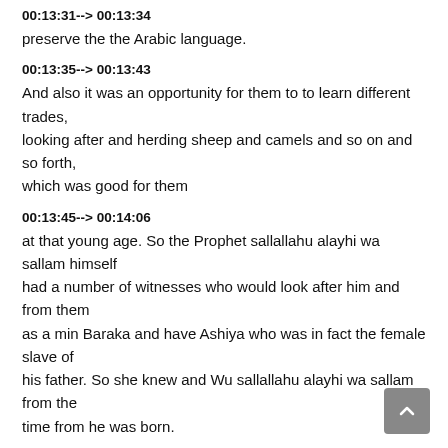00:13:31--> 00:13:34
preserve the the Arabic language.
00:13:35--> 00:13:43
And also it was an opportunity for them to to learn different trades, looking after and herding sheep and camels and so on and so forth, which was good for them
00:13:45--> 00:14:06
at that young age. So the Prophet sallallahu alayhi wa sallam himself had a number of witnesses who would look after him and from them as a min Baraka and have Ashiya who was in fact the female slave of his father. So she knew and Wu sallallahu alayhi wa sallam from the time from he was born.